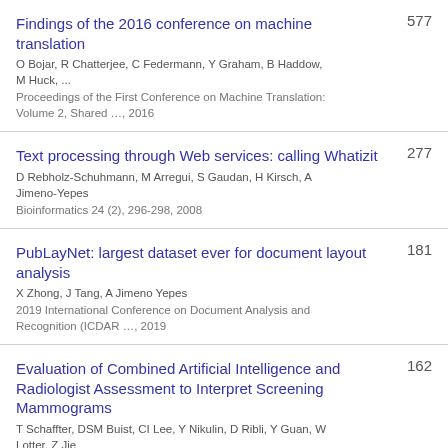Findings of the 2016 conference on machine translation | 577 | O Bojar, R Chatterjee, C Federmann, Y Graham, B Haddow, M Huck, ... | Proceedings of the First Conference on Machine Translation: Volume 2, Shared …, 2016
Text processing through Web services: calling Whatizit | 277 | D Rebholz-Schuhmann, M Arregui, S Gaudan, H Kirsch, A Jimeno-Yepes | Bioinformatics 24 (2), 296-298, 2008
PubLayNet: largest dataset ever for document layout analysis | 181 | X Zhong, J Tang, A Jimeno Yepes | 2019 International Conference on Document Analysis and Recognition (ICDAR …, 2019
Evaluation of Combined Artificial Intelligence and Radiologist Assessment to Interpret Screening Mammograms | 162 | T Schaffter, DSM Buist, CI Lee, Y Nikulin, D Ribli, Y Guan, W Lotter, Z Jie